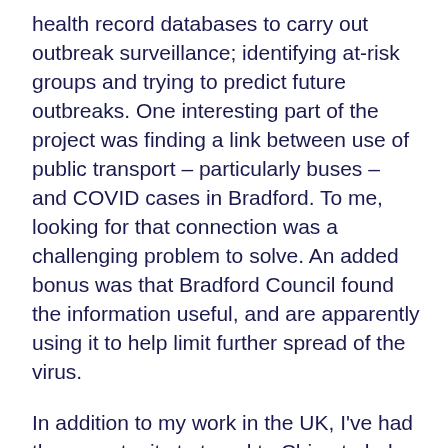health record databases to carry out outbreak surveillance; identifying at-risk groups and trying to predict future outbreaks. One interesting part of the project was finding a link between use of public transport – particularly buses – and COVID cases in Bradford. To me, looking for that connection was a challenging problem to solve. An added bonus was that Bradford Council found the information useful, and are apparently using it to help limit further spread of the virus.
In addition to my work in the UK, I've had the opportunity to travel to China to help integrate our software with third parties. It was great to be able to travel for work, and see how the tools I had created were making a difference to healthcare providers in other parts of the world. The fast-paced nature of my work means that